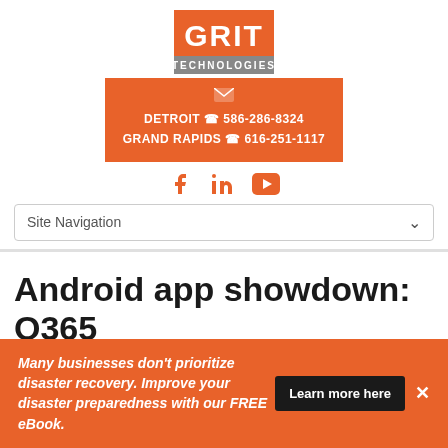[Figure (logo): GRIT Technologies logo — orange background with white text 'GRIT' large and 'TECHNOLOGIES' smaller below]
Email icon (envelope)
DETROIT 586-286-8324
GRAND RAPIDS 616-251-1117
[Figure (infographic): Social media icons: Facebook, LinkedIn, YouTube — all in orange]
Site Navigation
Android app showdown: O365 vs. G Suite
Many businesses don't prioritize disaster recovery. Improve your disaster preparedness with our FREE eBook.
Learn more here